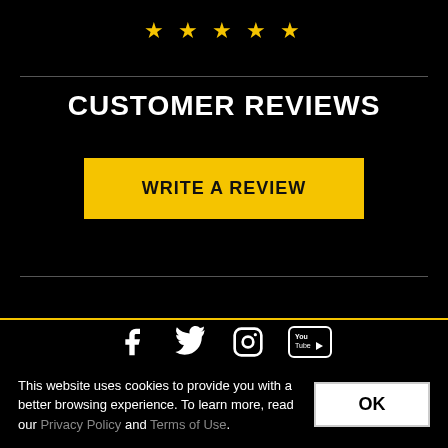[Figure (illustration): Five gold star icons in a row]
CUSTOMER REVIEWS
[Figure (illustration): Yellow button labeled WRITE A REVIEW]
[Figure (illustration): Social media icons: Facebook, Twitter, Instagram, YouTube]
This website uses cookies to provide you with a better browsing experience. To learn more, read our Privacy Policy and Terms of Use.